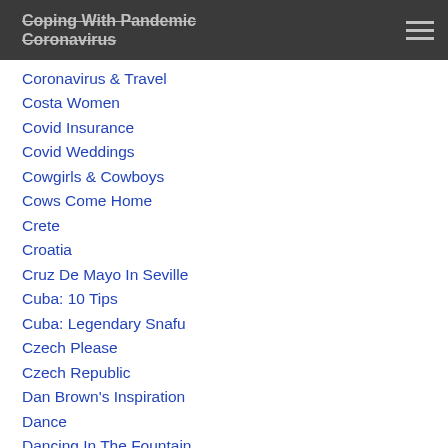Coping With Pandemic
Coronavirus
Coronavirus & Travel
Costa Women
Covid Insurance
Covid Weddings
Cowgirls & Cowboys
Cows Come Home
Crete
Croatia
Cruz De Mayo In Seville
Cuba: 10 Tips
Cuba: Legendary Snafu
Czech Please
Czech Republic
Dan Brown's Inspiration
Dance
Dancing In The Fountain
Dancing In The Foutnain